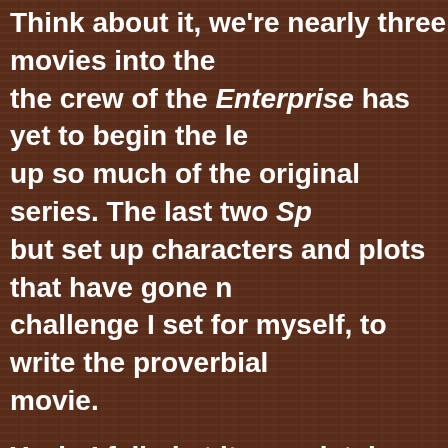Think about it, we're nearly three movies into the the crew of the Enterprise has yet to begin the le up so much of the original series. The last two Sp but set up characters and plots that have gone n challenge I set for myself, to write the proverbial movie.
Yeah, I failed at it completely.
The problem turned out to be the old camp herse looms over all others in popular culture is Camp films. One of the big problems I have with those f Lake is. This isn't entirely the fault of its creators were actually shot at the same location, leaving l less a feigned history. When audiences first laid e no significant fictional history aside from being t disabled camper Jason Voorhees drowned. Beyo anonymous as far as summer camps go. No cam